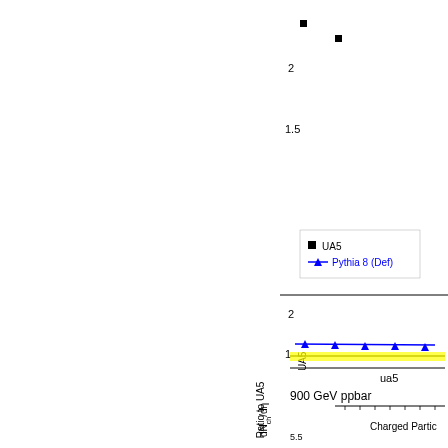[Figure (continuous-plot): Upper subplot: partial view of a physics plot showing dN_ch/deta vs eta for UA5 data (black squares) and Pythia 8 Default (blue triangles with line) at 900 GeV ppbar. Y-axis shows values around 1.5 to above 2. Legend shows UA5 (black square) and Pythia 8 (Def) (blue triangle). Lower subplot: Ratio to UA5, y-axis from 0.5 to 2, x-axis from 0 to ~1.5+. Blue triangles with line slightly above 1.0 (around 1.1), yellow band at y=1.]
[Figure (continuous-plot): Bottom portion showing start of another physics plot: ua5 label top right, '900 GeV ppbar' title, y-axis labeled dN_ch/deta with value 5.5 visible, x-axis labeled 'Charged Partic...' (truncated). This is the beginning of another charged particle pseudorapidity distribution plot.]